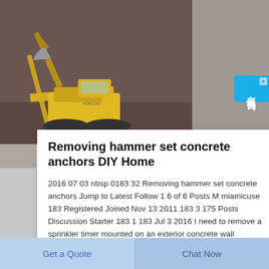[Figure (illustration): Construction/excavator illustration on dark brownish background, partially visible at top of page]
Removing hammer set concrete anchors DIY Home
2016 07 03 nbsp 0183 32 Removing hammer set concrete anchors Jump to Latest Follow 1 6 of 6 Posts M miamicuse 183 Registered Joined Nov 13 2011 183 3 175 Posts Discussion Starter 183 1 183 Jul 3 2016 I need to remove a sprinkler timer mounted on an exterior concrete wall
[Figure (other): Chinese language chat widget on right side - cyan/blue sidebar with Chinese characters 在线咨询 (online consultation)]
Get a Quote
Chat Now